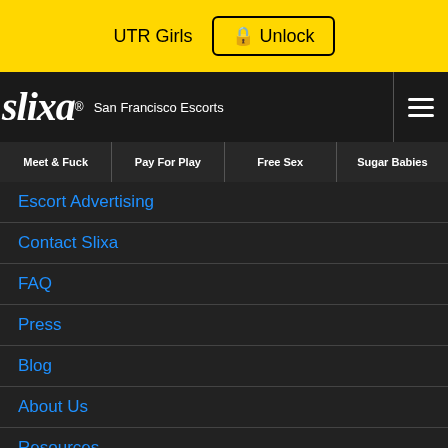UTR Girls  🔒 Unlock
slixa® San Francisco Escorts
Meet & Fuck
Pay For Play
Free Sex
Sugar Babies
Escort Advertising
Contact Slixa
FAQ
Press
Blog
About Us
Resources